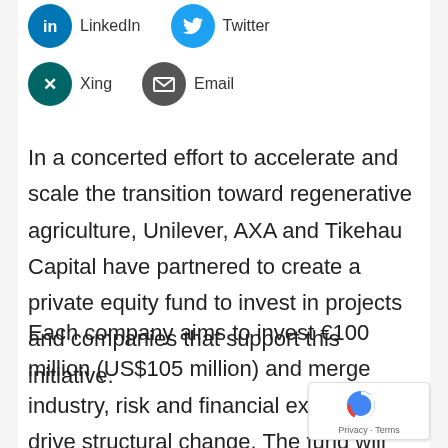[Figure (other): Social share icons row 1: LinkedIn (blue circle with 'in' icon) and Twitter (light blue circle with bird icon)]
[Figure (other): Social share icons row 2: Xing (dark teal circle with X icon) and Email (dark grey circle with envelope icon)]
In a concerted effort to accelerate and scale the transition toward regenerative agriculture, Unilever, AXA and Tikehau Capital have partnered to create a private equity fund to invest in projects and companies that support this initiative.
Each company aims to invest €100 million (US$105 million) and merge industry, risk and financial expertise to drive structural change. The fund will